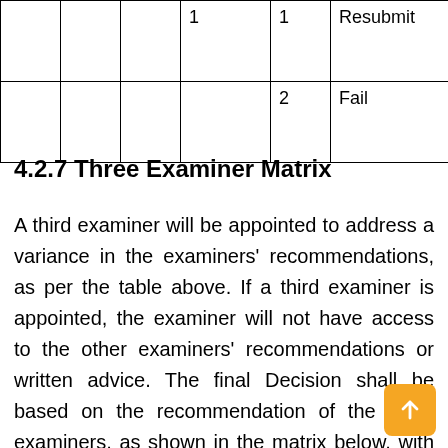|  |  |  | 1 | 1 | Resubmit |
|  |  |  |  | 2 | Fail |
4.2.7 Three Examiner Matrix
A third examiner will be appointed to address a variance in the examiners' recommendations, as per the table above. If a third examiner is appointed, the examiner will not have access to the other examiners' recommendations or written advice. The final Decision shall be based on the recommendation of the three examiners, as shown in the matrix below, with appropriate